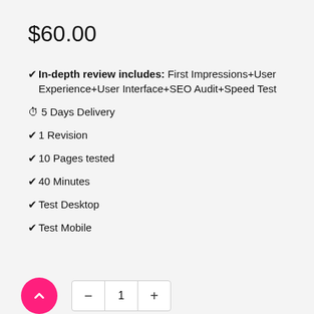$60.00
✔In-depth review includes: First Impressions+User Experience+User Interface+SEO Audit+Speed Test
⏱5 Days Delivery
✔1 Revision
✔10 Pages tested
✔40 Minutes
✔Test Desktop
✔Test Mobile